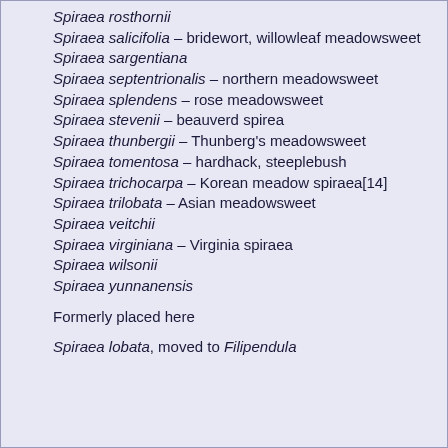Spiraea rosthornii
Spiraea salicifolia – bridewort, willowleaf meadowsweet
Spiraea sargentiana
Spiraea septentrionalis – northern meadowsweet
Spiraea splendens – rose meadowsweet
Spiraea stevenii – beauverd spirea
Spiraea thunbergii – Thunberg's meadowsweet
Spiraea tomentosa – hardhack, steeplebush
Spiraea trichocarpa – Korean meadow spiraea[14]
Spiraea trilobata – Asian meadowsweet
Spiraea veitchii
Spiraea virginiana – Virginia spiraea
Spiraea wilsonii
Spiraea yunnanensis
Formerly placed here
Spiraea lobata, moved to Filipendula